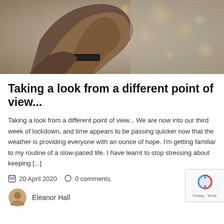[Figure (photo): Close-up photo of a person's hand holding something against a bokeh background with warm lights]
Taking a look from a different point of view...
Taking a look from a different point of view... We are now into our third week of lockdown, and time appears to be passing quicker now that the weather is providing everyone with an ounce of hope. I'm getting familiar to my routine of a slow-paced life. I have learnt to stop stressing about keeping [...]
20 April 2020   0 comments
Eleanor Hall